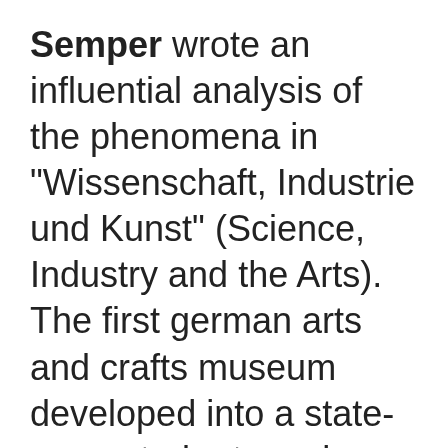Semper wrote an influential analysis of the phenomena in "Wissenschaft, Industrie und Kunst" (Science, Industry and the Arts). The first german arts and crafts museum developed into a state-supported arts and crafts school. But these schools were reserved only for male students — just as